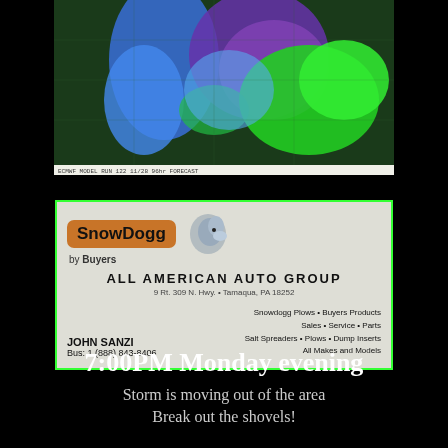[Figure (map): ECMWF weather model map showing storm system with blue, green, and purple precipitation areas over the eastern United States. Caption reads: ECMWF MODEL RUN 122 11/28 96hr FORECAST]
[Figure (photo): Business card for SnowDogg by Buyers brand, All American Auto Group, 9 Rt. 309 N. Hwy., Tamaqua, PA 18252. Contact: John Sanzi, Bus: 1 (888) 843-8406. Services: Snowdogg Plows, Buyers Products, Sales, Service, Parts, Salt Spreaders, Plows, Dump Inserts, All Makes and Models.]
7:00PM Monday evening
Storm is moving out of the area
Break out the shovels!